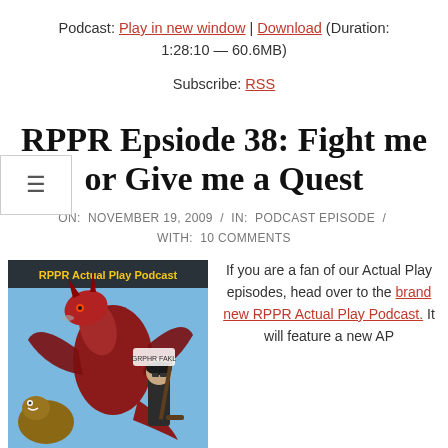Podcast: Play in new window | Download (Duration: 1:28:10 — 60.6MB)
Subscribe: RSS
RPPR Epsiode 38: Fight me or Give me a Quest
ON: NOVEMBER 19, 2009  /  IN: PODCAST EPISODE  /  WITH: 10 COMMENTS
[Figure (illustration): RPPR Actual Play Podcast cover art showing a dragon, a dinosaur, and a human character with hockey stick]
If you are a fan of our Actual Play episodes, head over to the brand new RPPR Actual Play Podcast. It will feature a new AP